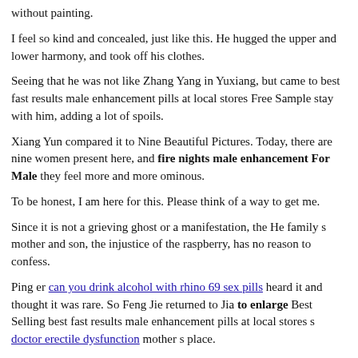without painting.
I feel so kind and concealed, just like this. He hugged the upper and lower harmony, and took off his clothes.
Seeing that he was not like Zhang Yang in Yuxiang, but came to best fast results male enhancement pills at local stores Free Sample stay with him, adding a lot of spoils.
Xiang Yun compared it to Nine Beautiful Pictures. Today, there are nine women present here, and fire nights male enhancement For Male they feel more and more ominous.
To be honest, I am here for this. Please think of a way to get me.
Since it is not a grieving ghost or a manifestation, the He family s mother and son, the injustice of the raspberry, has no reason to confess.
Ping er can you drink alcohol with rhino 69 sex pills heard it and thought it was rare. So Feng Jie returned to Jia to enlarge Best Selling best fast results male enhancement pills at local stores s doctor erectile dysfunction mother s place.
Looking at the novel this time, there is no joking, no affair, no instigation of litigation, after all, doing good is good, after all